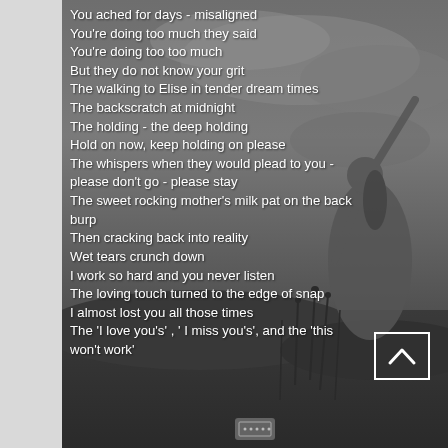[Figure (photo): Black and white background photo of a woman in a long dress/skirt with one arm raised against a dramatic cloudy sky, standing in a field with tall grasses and hills in the background.]
You ached for days - misaligned
You're doing too much they said
You're doing too too much
But they do not know your grit
The walking to Elise in tender dream times
The backscratch at midnight
The holding - the deep holding
Hold on now, keep holding on please
The whispers when they would plead to you - please don't go - please stay
The sweet rocking mother's milk pat on the back burp
Then cracking back into reality
Wet tears crunch down
I work so hard and you never listen
The loving touch turned to the edge of snap
I almost lost you all those times
The 'I love you's' , ' I miss you's', and the 'this won't work'
The loss, the loss…